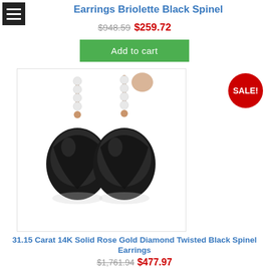Earrings Briolette Black Spinel
$948.59 $259.72
Add to cart
[Figure (photo): Photo of 14K rose gold diamond twisted black spinel drop earrings with large dark twisted briolette stones and diamond bar tops]
SALE!
31.15 Carat 14K Solid Rose Gold Diamond Twisted Black Spinel Earrings
$1,761.94 $477.97